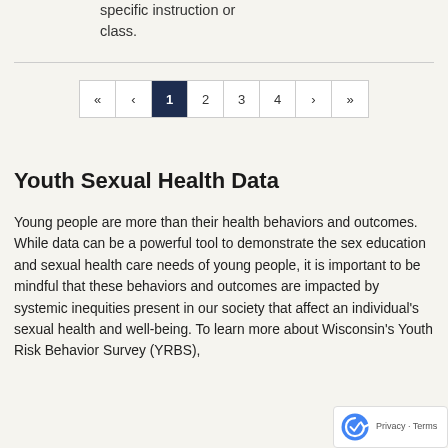specific instruction or class.
« ‹ 1 2 3 4 › »
Youth Sexual Health Data
Young people are more than their health behaviors and outcomes. While data can be a powerful tool to demonstrate the sex education and sexual health care needs of young people, it is important to be mindful that these behaviors and outcomes are impacted by systemic inequities present in our society that affect an individual's sexual health and well-being. To learn more about Wisconsin's Youth Risk Behavior Survey (YRBS),